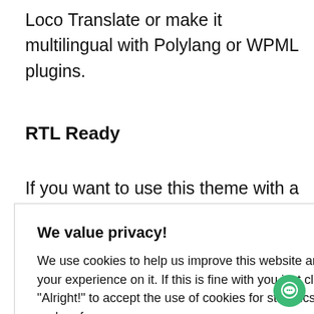Loco Translate or make it multilingual with Polylang or WPML plugins.
RTL Ready
If you want to use this theme with a
n from right
witch the
the theme
[Figure (screenshot): Cookie consent modal dialog with title 'We value privacy!', body text about cookies, an 'Alright!' green button, and a 'Preferences' text button.]
Import demo content and layouts with a few